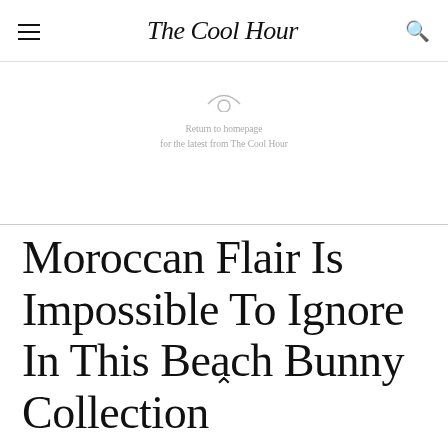The Cool Hour
Return to homepage
for the latest from The Cool Hour
Moroccan Flair Is Impossible To Ignore In This Beach Bunny Collection